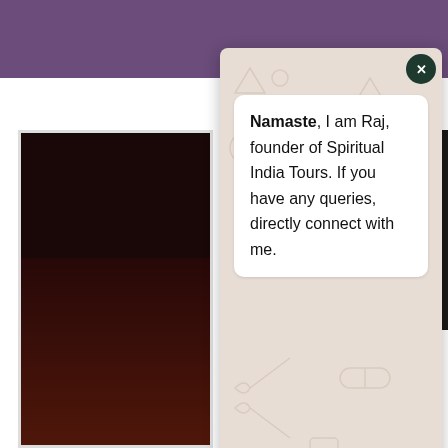[Figure (screenshot): WhatsApp chat popup widget overlaid on a travel website. The popup shows a message from Raj, founder of Spiritual India Tours. Below the popup are website elements including italic text 'Iconic Jewels of India', a 'MORE INFO' heading, and a lotus flower icon. Green WhatsApp buttons for send and float action are visible.]
Namaste, I am Raj, founder of Spiritual India Tours. If you have any queries, directly connect with me.
Iconic Jewels of India
MORE INFO